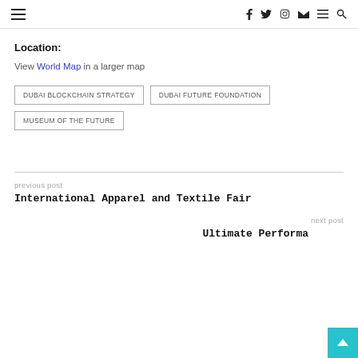Navigation bar with hamburger menu and social icons (f, twitter, instagram, mail, menu, search)
Location:
View World Map in a larger map
DUBAI BLOCKCHAIN STRATEGY
DUBAI FUTURE FOUNDATION
MUSEUM OF THE FUTURE
previous post
International Apparel and Textile Fair
next post
Ultimate Performa…